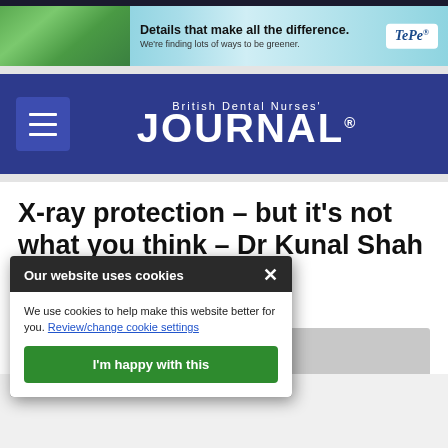[Figure (screenshot): TePe dental product advertisement banner with green product image and text 'Details that make all the difference. We're finding lots of ways to be greener.' with TePe logo on right, on a light blue/teal gradient background.]
[Figure (logo): British Dental Nurses' JOURNAL logo in white text on dark navy/blue background, with hamburger menu icon on the left.]
X-ray protection – but it's not what you think – Dr Kunal Shah
F ... L FEATURES
[Figure (screenshot): Cookie consent overlay popup with dark header reading 'Our website uses cookies' with close X button, white body text 'We use cookies to help make this website better for you. Review/change cookie settings' and green button 'I'm happy with this']